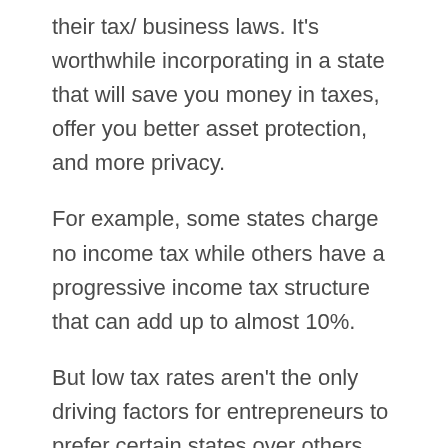their tax/ business laws. It's worthwhile incorporating in a state that will save you money in taxes, offer you better asset protection, and more privacy.
For example, some states charge no income tax while others have a progressive income tax structure that can add up to almost 10%.
But low tax rates aren't the only driving factors for entrepreneurs to prefer certain states over others.
Asset protection, privacy, business-friendly court systems, these are some of the additional things to consider when choosing your state…